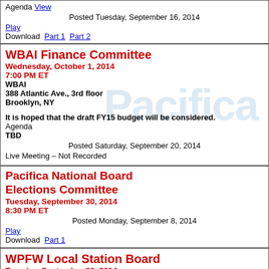Agenda View
Posted Tuesday, September 16, 2014
Play
Download  Part 1  Part 2
WBAI Finance Committee
Wednesday, October 1, 2014
7:00 PM ET
WBAI
388 Atlantic Ave., 3rd floor
Brooklyn, NY
It is hoped that the draft FY15 budget will be considered.
Agenda
TBD
Posted Saturday, September 20, 2014
Live Meeting – Not Recorded
Pacifica National Board Elections Committee
Tuesday, September 30, 2014
8:30 PM ET
Posted Monday, September 8, 2014
Play
Download  Part 1
WPFW Local Station Board
Tuesday, September 30, 2014
7:00 PM ET
Howard University
School of Architecture – Auditorium